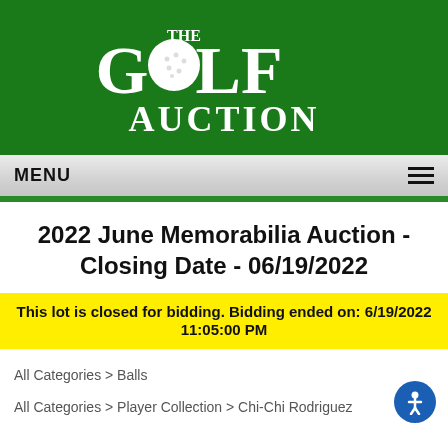[Figure (logo): The Golf Auction logo on green background with white text and golf ball replacing the O in GOLF]
MENU
2022 June Memorabilia Auction - Closing Date - 06/19/2022
This lot is closed for bidding. Bidding ended on: 6/19/2022 11:05:00 PM
All Categories > Balls
All Categories > Player Collection > Chi-Chi Rodriguez